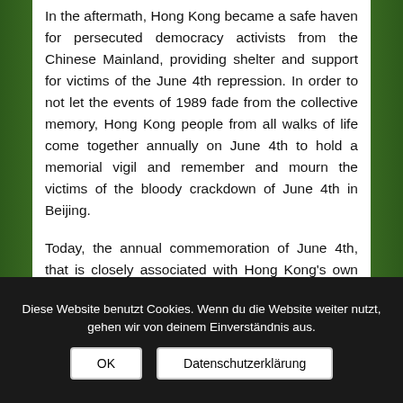In the aftermath, Hong Kong became a safe haven for persecuted democracy activists from the Chinese Mainland, providing shelter and support for victims of the June 4th repression. In order to not let the events of 1989 fade from the collective memory, Hong Kong people from all walks of life come together annually on June 4th to hold a memorial vigil and remember and mourn the victims of the bloody crackdown of June 4th in Beijing.
Today, the annual commemoration of June 4th, that is closely associated with Hong Kong's own democracy movement, is threatened by the same regime that
Diese Website benutzt Cookies. Wenn du die Website weiter nutzt, gehen wir von deinem Einverständnis aus.